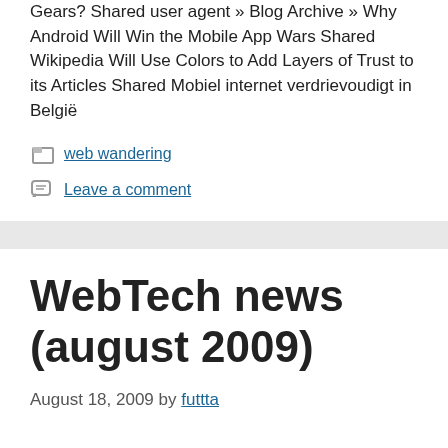Gears? Shared user agent » Blog Archive » Why Android Will Win the Mobile App Wars Shared Wikipedia Will Use Colors to Add Layers of Trust to its Articles Shared Mobiel internet verdrievoudigt in België
web wandering
Leave a comment
WebTech news (august 2009)
August 18, 2009 by futtta